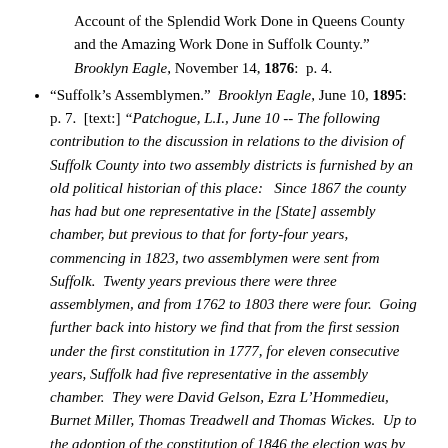Account of the Splendid Work Done in Queens County and the Amazing Work Done in Suffolk County."  Brooklyn Eagle, November 14, 1876:  p. 4.
"Suffolk's Assemblymen."  Brooklyn Eagle, June 10, 1895:  p. 7.  [text:] "Patchogue, L.I., June 10 -- The following contribution to the discussion in relations to the division of Suffolk County into two assembly districts is furnished by an old political historian of this place:   Since 1867 the county has had but one representative in the [State] assembly chamber, but previous to that for forty-four years, commencing in 1823, two assemblymen were sent from Suffolk.  Twenty years previous there were three assemblymen, and from 1762 to 1803 there were four.  Going further back into history we find that from the first session under the first constitution in 1777, for eleven consecutive years, Suffolk had five representative in the assembly chamber.  They were David Gelson, Ezra L'Hommedieu, Burnet Miller, Thomas Treadwell and Thomas Wickes.  Up to the adoption of the constitution of 1846 the election was by counties.  That constitution required the board of supervisors to divide the counties into districts, Suffolk having two from 1847 to 1866.  The First district was composed of the five